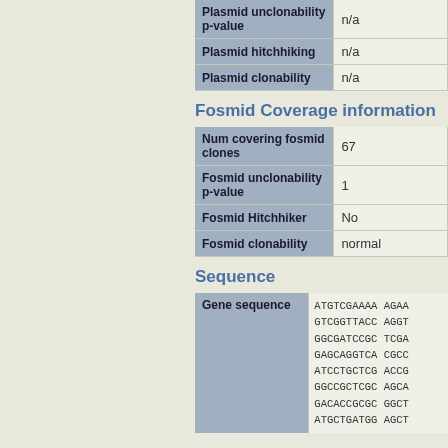|  |  |
| --- | --- |
| Plasmid unclonability p-value | n/a |
| Plasmid hitchhiking | n/a |
| Plasmid clonability | n/a |
Fosmid Coverage information
|  |  |
| --- | --- |
| Num covering fosmid clones | 67 |
| Fosmid unclonability p-value | 1 |
| Fosmid Hitchhiker | No |
| Fosmid clonability | normal |
Sequence
| Gene sequence |  |
| --- | --- |
|  | ATGTCGAAAA AGAA
GTCGGTTACC AGGT
GGCGATCCGC TCGA
GAGCAGGTCA CGCC
ATCCTGCTCG ACCG
GGCCGCTCGC AGCA
GACACCGCGC GGCT
ATGCTGATGG AGCT |